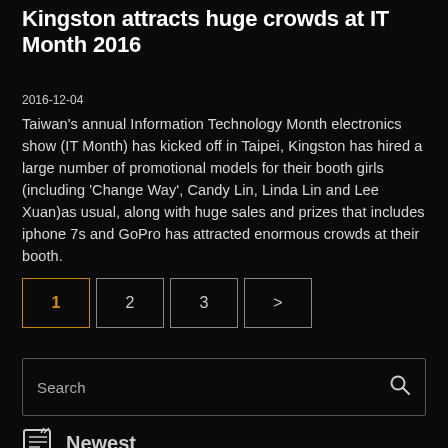Kingston attracts huge crowds at IT Month 2016
2016-12-04
Taiwan's annual Information Technology Month electronics show (IT Month) has kicked off in Taipei, Kingston has hired a large number of promotional models for their booth girls (including 'Change Way', Candy Lin, Linda Lin and Lee Xuan)as usual, along with huge sales and prizes that includes iphone 7s and GoPro has attracted enormous crowds at their booth.
Pagination: 1  2  3  >
Search
Newest